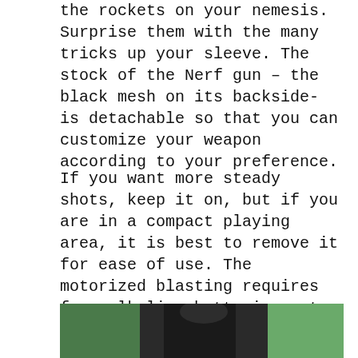Upon pump action blasting, you can unleash the rockets on your nemesis. Surprise them with the many tricks up your sleeve. The stock of the Nerf gun – the black mesh on its backside- is detachable so that you can customize your weapon according to your preference.
If you want more steady shots, keep it on, but if you are in a compact playing area, it is best to remove it for ease of use. The motorized blasting requires four alkaline batteries not included in the package, so have some spare with you before the package ships in.
[Figure (photo): A person in a black shirt standing outdoors on green grass, partially cropped showing torso and arms.]